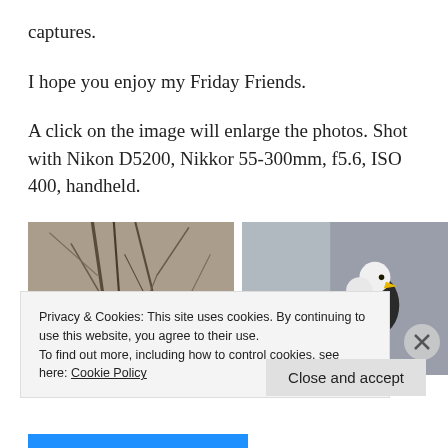captures.
I hope you enjoy my Friday Friends.
A click on the image will enlarge the photos. Shot with Nikon D5200, Nikkor 55-300mm, f5.6, ISO 400, handheld.
[Figure (photo): Two side-by-side wildlife photos: left shows bare tree branches with brown/grey tones; right shows a bald eagle perched near a grey tree trunk.]
Privacy & Cookies: This site uses cookies. By continuing to use this website, you agree to their use.
To find out more, including how to control cookies, see here: Cookie Policy
Close and accept